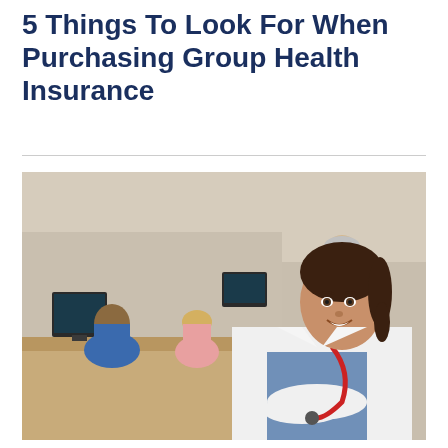5 Things To Look For When Purchasing Group Health Insurance
[Figure (photo): A smiling female doctor in white lab coat with red stethoscope, arms crossed, standing in front of a medical reception desk. In the background, a doctor in white coat stands at the counter, and two patients (a man in blue shirt and a woman in pink top) are seated consulting with staff.]